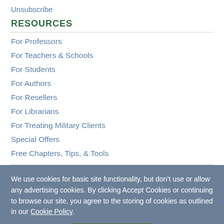Unsubscribe
RESOURCES
For Professors
For Teachers & Schools
For Students
For Authors
For Resellers
For Librarians
For Treating Military Clients
Special Offers
Free Chapters, Tips, & Tools
We use cookies for basic site functionality, but don’t use or allow any advertising cookies. By clicking Accept Cookies or continuing to browse our site, you agree to the storing of cookies as outlined in our Cookie Policy.